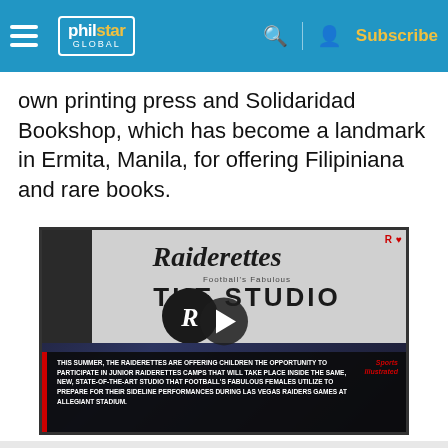philstar GLOBAL — Subscribe
own printing press and Solidaridad Bookshop, which has become a landmark in Ermita, Manila, for offering Filipiniana and rare books.
[Figure (screenshot): Video thumbnail showing Raiderettes The Studio sign with play button overlay and caption: THIS SUMMER, THE RAIDERETTES ARE OFFERING CHILDREN THE OPPORTUNITY TO PARTICIPATE IN JUNIOR RAIDERETTES CAMPS THAT WILL TAKE PLACE INSIDE THE SAME, NEW, STATE-OF-THE-ART STUDIO THAT FOOTBALL'S FABULOUS FEMALES UTILIZE TO PREPARE FOR THEIR SIDELINE PERFORMANCES DURING LAS VEGAS RAIDERS GAMES AT ALLEGIANT STADIUM. Sports Illustrated]
This site uses cookies. By continuing to browse the site, you are agreeing to our use of cookies.